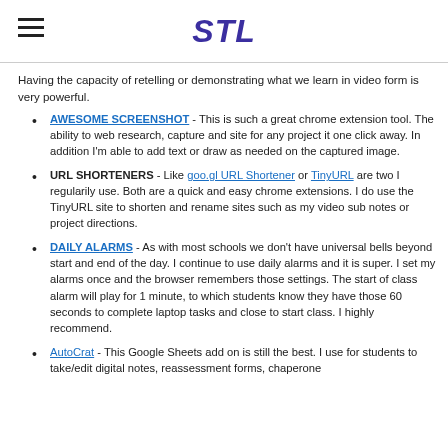STL
Having the capacity of retelling or demonstrating what we learn in video form is very powerful.
AWESOME SCREENSHOT - This is such a great chrome extension tool. The ability to web research, capture and site for any project it one click away. In addition I'm able to add text or draw as needed on the captured image.
URL SHORTENERS - Like goo.gl URL Shortener or TinyURL are two I regularily use. Both are a quick and easy chrome extensions. I do use the TinyURL site to shorten and rename sites such as my video sub notes or project directions.
DAILY ALARMS - As with most schools we don't have universal bells beyond start and end of the day. I continue to use daily alarms and it is super. I set my alarms once and the browser remembers those settings. The start of class alarm will play for 1 minute, to which students know they have those 60 seconds to complete laptop tasks and close to start class. I highly recommend.
AutoCrat - This Google Sheets add on is still the best. I use for students to take/edit digital notes, reassessment forms, chaperone